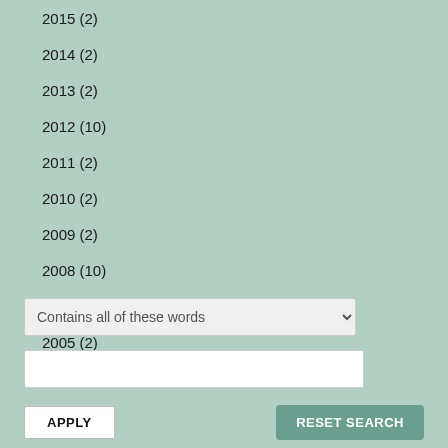2015 (2)
2014 (2)
2013 (2)
2012 (10)
2011 (2)
2010 (2)
2009 (2)
2008 (10)
2007 (2)
2005 (2)
2003 (2)
Contains all of these words
APPLY
RESET SEARCH